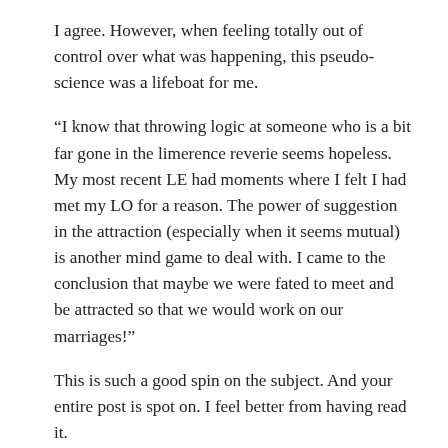I agree. However, when feeling totally out of control over what was happening, this pseudo-science was a lifeboat for me.
“I know that throwing logic at someone who is a bit far gone in the limerence reverie seems hopeless. My most recent LE had moments where I felt I had met my LO for a reason. The power of suggestion in the attraction (especially when it seems mutual) is another mind game to deal with. I came to the conclusion that maybe we were fated to meet and be attracted so that we would work on our marriages!”
This is such a good spin on the subject. And your entire post is spot on. I feel better from having read it.